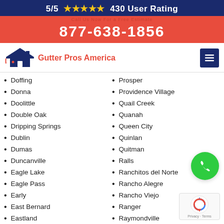5/5 ★★★★★ 430 User Rating
877-638-1856
[Figure (logo): Gutter Pros America logo with house/roof icon and red text]
Doffing
Donna
Doolittle
Double Oak
Dripping Springs
Dublin
Dumas
Duncanville
Eagle Lake
Eagle Pass
Early
East Bernard
Eastland
Prosper
Providence Village
Quail Creek
Quanah
Queen City
Quinlan
Quitman
Ralls
Ranchitos del Norte
Rancho Alegre
Rancho Viejo
Ranger
Raymondville